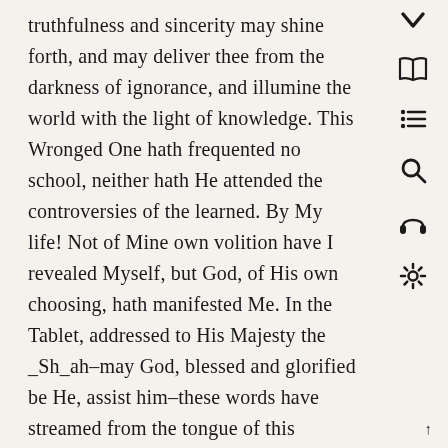truthfulness and sincerity may shine forth, and may deliver thee from the darkness of ignorance, and illumine the world with the light of knowledge. This Wronged One hath frequented no school, neither hath He attended the controversies of the learned. By My life! Not of Mine own volition have I revealed Myself, but God, of His own choosing, hath manifested Me. In the Tablet, addressed to His Majesty the _Sh_ah–may God, blessed and glorified be He, assist him–these words have streamed from the tongue of this Wronged One:
“O King! I was but a man like others, asleep upon My couch, when lo, the breezes of the